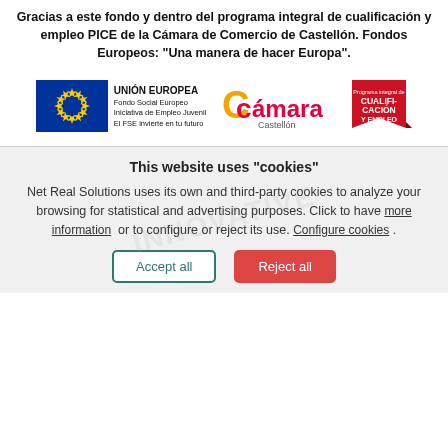Gracias a este fondo y dentro del programa integral de cualificación y empleo PICE de la Cámara de Comercio de Castellón. Fondos Europeos: "Una manera de hacer Europa".
[Figure (logo): EU flag logo with text: UNIÓN EUROPEA, Fondo Social Europeo, Iniciativa de Empleo Juvenil, El FSE invierte en tu futuro. Cámara Castellón logo. Programa integral de CUALIFICACIÓN Y EMPLEO logo.]
This website uses "cookies"
Net Real Solutions uses its own and third-party cookies to analyze your browsing for statistical and advertising purposes. Click to have more information or to configure or reject its use. Configure cookies .